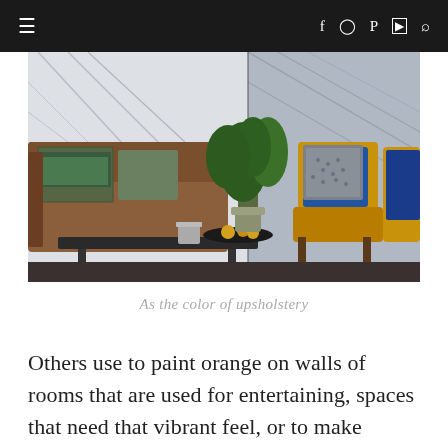≡  f  [instagram]  p  [youtube]  [search]
[Figure (photo): Interior living room scene with a brown leather sofa with decorative pillows on the left, a green plant and coffee table in the center, and two yellow/mustard chairs with blue and patterned cushions on the right, against a geometric white and grey wall panel background.]
As the color of upsholstery
Others use to paint orange on walls of rooms that are used for entertaining, spaces that need that vibrant feel, or to make certain spaces stand out.